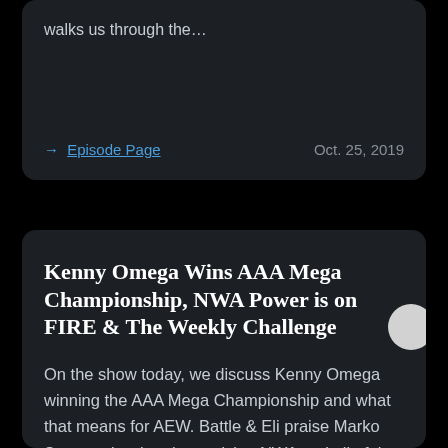walks us through the…
→ Episode Page    Oct. 25, 2019
Kenny Omega Wins AAA Mega Championship, NWA Power is on FIRE & The Weekly Challenge
On the show today, we discuss Kenny Omega winning the AAA Mega Championship and what that means for AEW. Battle & Eli praise Marko Stunt and we're also praising NWA and all of the